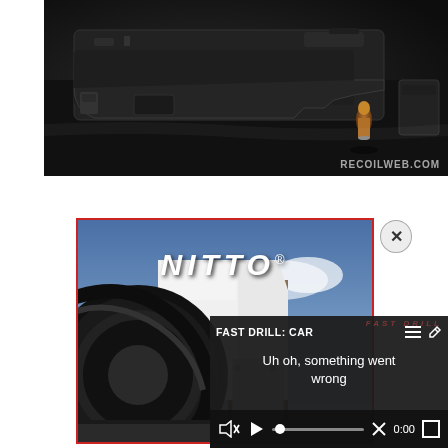[Figure (photo): Close-up dark photo of a firearm (lower receiver) with a bullet visible in the background on a dark surface. Watermark 'RECOILWEB.COM' in bottom right corner.]
[Figure (photo): Advertisement image for NITTO tires showing a large truck tire close-up from a low angle, with a stone wall and blue sky background. The NITTO logo is prominently displayed in white italic text.]
[Figure (screenshot): Video player overlay showing error state. Title reads 'FAST DRILL: CAR' with a hamburger menu icon and edit icon. Error message: 'Uh oh, something went wrong'. Controls show mute icon with X, play button, scrubber, X mark, time 0:00, and fullscreen button.]